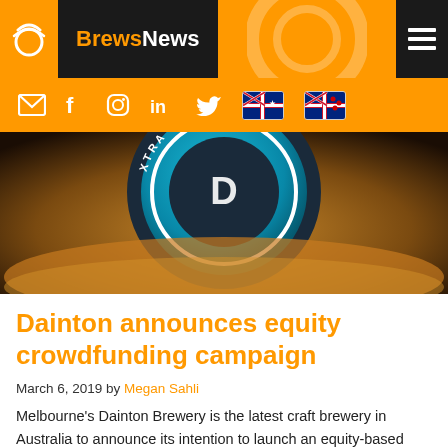BrewsNews
[Figure (photo): Close-up photo of a beer tap badge/medallion reading 'XTRA SESSION ALE' in white text on a teal/blue circular badge with dark background]
Dainton announces equity crowdfunding campaign
March 6, 2019 by Megan Sahli
Melbourne's Dainton Brewery is the latest craft brewery in Australia to announce its intention to launch an equity-based crowdfunding campaign.